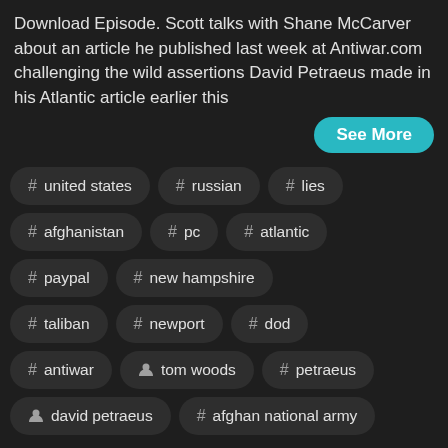Download Episode. Scott talks with Shane McCarver about an article he published last week at Antiwar.com challenging the wild assertions David Petraeus made in his Atlantic article earlier this
See More
# united states
# russian
# lies
# afghanistan
# pc
# atlantic
# paypal
# new hampshire
# taliban
# newport
# dod
# antiwar
person tom woods
# petraeus
person david petraeus
# afghan national army